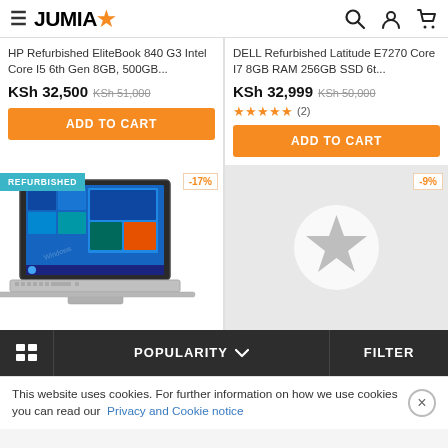JUMIA
HP Refurbished EliteBook 840 G3 Intel Core I5 6th Gen 8GB, 500GB...
KSh 32,500  KSh 51,000
ADD TO CART
DELL Refurbished Latitude E7270 Core I7 8GB RAM 256GB SSD 6t...
KSh 32,999  KSh 50,000
★★★★★ (2)
ADD TO CART
[Figure (photo): Refurbished HP laptop open showing Windows 10 desktop, silver body, with REFURBISHED badge and -17% discount tag]
[Figure (illustration): Placeholder image with a grey star icon on light grey background, -9% discount tag]
POPULARITY  FILTER
This website uses cookies. For further information on how we use cookies you can read our Privacy and Cookie notice